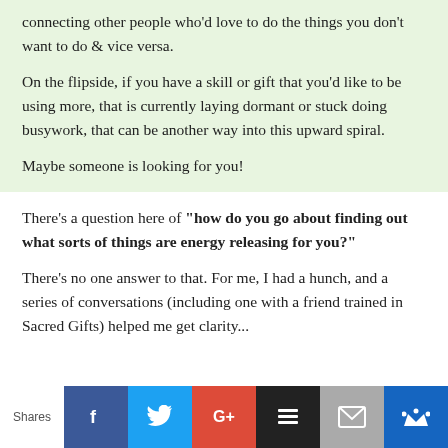connecting other people who'd love to do the things you don't want to do & vice versa.

On the flipside, if you have a skill or gift that you'd like to be using more, that is currently laying dormant or stuck doing busywork, that can be another way into this upward spiral.

Maybe someone is looking for you!
There's a question here of "how do you go about finding out what sorts of things are energy releasing for you?"
There's no one answer to that. For me, I had a hunch, and a series of conversations (including one with a friend trained in Sacred Gifts) helped me get clarity...
Shares | Facebook | Twitter | Google+ | Buffer | Email | Crown